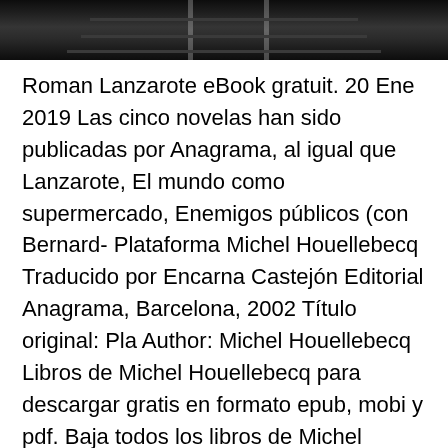[Figure (photo): Dark photograph of railway tracks receding into the distance]
Roman Lanzarote eBook gratuit. 20 Ene 2019 Las cinco novelas han sido publicadas por Anagrama, al igual que Lanzarote, El mundo como supermercado, Enemigos públicos (con Bernard- Plataforma Michel Houellebecq Traducido por Encarna Castejón Editorial Anagrama, Barcelona, 2002 Título original: Pla Author: Michel Houellebecq  Libros de Michel Houellebecq para descargar gratis en formato epub, mobi y pdf. Baja todos los libros de Michel Houellebecq para tu Kindle o cualquier lector  12 Oct 2006 Trabajo Recopilación Información Lanzarote Reserva de Biosfera. información de la isla de Lanzarote y que en un Houellebecq, Michel. 10 Mar 2021 chez Michel Houellebecq, qui le découvrit à Lanzarote, there are some Vie.pdf. Read Online H.R.Lovecraft: